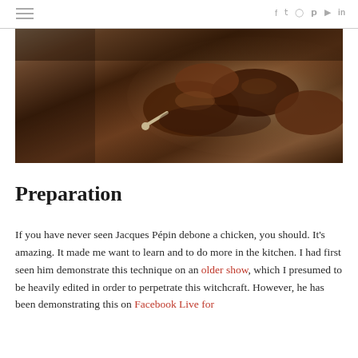≡  f  𝕋  ◻  𝗽  ▶  in
[Figure (photo): Food dish photo showing cooked chicken pieces on a white plate, with a browned, crusty appearance and bone visible.]
Preparation
If you have never seen Jacques Pépin debone a chicken, you should.  It's amazing.  It made me want to learn and to do more in the kitchen.  I had first seen him demonstrate this technique on an older show, which I presumed to be heavily edited in order to perpetrate this witchcraft.  However, he has been demonstrating this on Facebook Live for